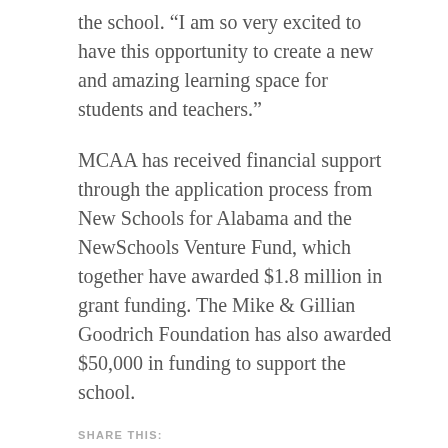the school. “I am so very excited to have this opportunity to create a new and amazing learning space for students and teachers.”
MCAA has received financial support through the application process from New Schools for Alabama and the NewSchools Venture Fund, which together have awarded $1.8 million in grant funding. The Mike & Gillian Goodrich Foundation has also awarded $50,000 in funding to support the school.
SHARE THIS:
Twitter
Facebook
Like
Be the first to like this.